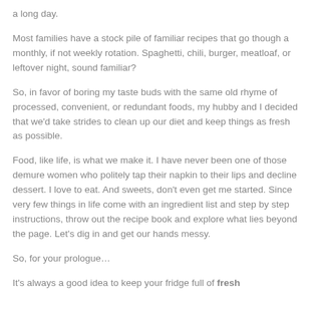a long day.
Most families have a stock pile of familiar recipes that go though a monthly, if not weekly rotation. Spaghetti, chili, burger, meatloaf, or leftover night, sound familiar?
So, in favor of boring my taste buds with the same old rhyme of processed, convenient, or redundant foods, my hubby and I decided that we'd take strides to clean up our diet and keep things as fresh as possible.
Food, like life, is what we make it. I have never been one of those demure women who politely tap their napkin to their lips and decline dessert. I love to eat. And sweets, don't even get me started. Since very few things in life come with an ingredient list and step by step instructions, throw out the recipe book and explore what lies beyond the page. Let’s dig in and get our hands messy.
So, for your prologue…
It’s always a good idea to keep your fridge full of fresh